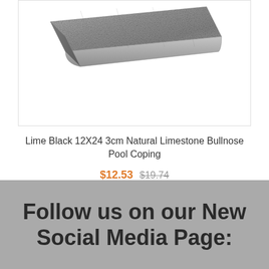[Figure (photo): A gray natural limestone bullnose pool coping tile shown at an angle, with a flat top surface and rounded front edge, displayed against a white background.]
Lime Black 12X24 3cm Natural Limestone Bullnose Pool Coping
$12.53  $19.74
Follow us on our New Social Media Page: